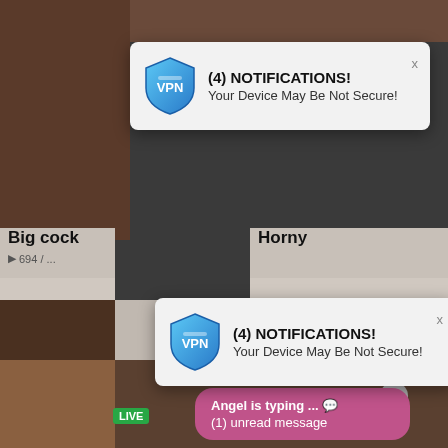[Figure (screenshot): Screenshot of adult video website with multiple popup overlays including VPN security notification popups, a live chat bubble, and an advertisement widget]
(4) NOTIFICATIONS!
Your Device May Be Not Secure!
Big cock
Horny
(4) NOTIFICATIONS!
Your Device May Be Not Secure!
Angel is typing ... 💬
(1) unread message
WHAT DO YOU WANT?
WATCH
Online
Cumming, ass fucking, squirt or...
• ADS